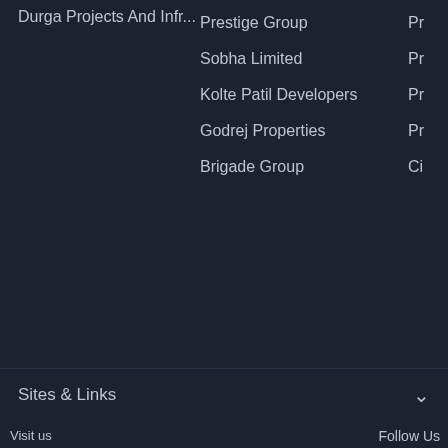Durga Projects And Infr...
Prestige Group
Sobha Limited
Kolte Patil Developers
Godrej Properties
Brigade Group
Sites & Links
Visit us
Plot No. 25, Echelon Square, Sector - 32, Gurgaon - 122001
visit all regional offices
Contact us
WhatsApp
+91-96939-69347
Follow Us